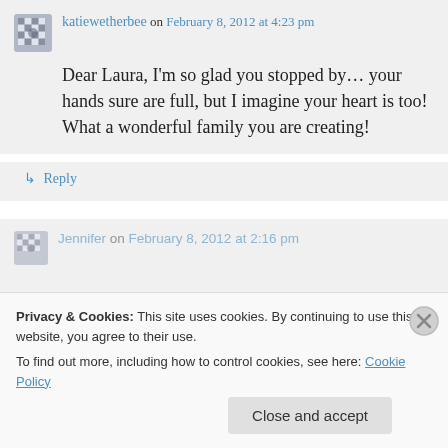katiewetherbee on February 8, 2012 at 4:23 pm
Dear Laura, I'm so glad you stopped by… your hands sure are full, but I imagine your heart is too! What a wonderful family you are creating!
↳ Reply
Jennifer on February 8, 2012 at 2:16 pm
Privacy & Cookies: This site uses cookies. By continuing to use this website, you agree to their use.
To find out more, including how to control cookies, see here: Cookie Policy
Close and accept